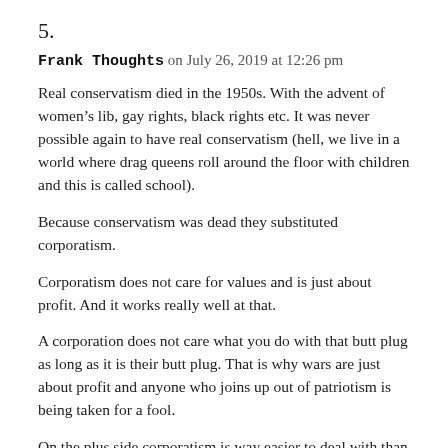5.
Frank Thoughts on July 26, 2019 at 12:26 pm
Real conservatism died in the 1950s. With the advent of women’s lib, gay rights, black rights etc. It was never possible again to have real conservatism (hell, we live in a world where drag queens roll around the floor with children and this is called school).
Because conservatism was dead they substituted corporatism.
Corporatism does not care for values and is just about profit. And it works really well at that.
A corporation does not care what you do with that butt plug as long as it is their butt plug. That is why wars are just about profit and anyone who joins up out of patriotism is being taken for a fool.
On the plus side corporatism is way easier to deal with than religion, or family values etc. Conservatives used to do horrible things to their children and claim it was in